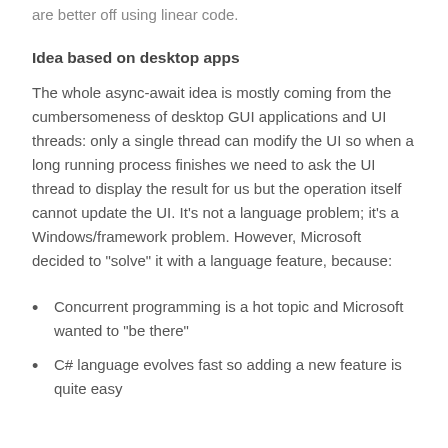are better off using linear code.
Idea based on desktop apps
The whole async-await idea is mostly coming from the cumbersomeness of desktop GUI applications and UI threads: only a single thread can modify the UI so when a long running process finishes we need to ask the UI thread to display the result for us but the operation itself cannot update the UI. It’s not a language problem; it’s a Windows/framework problem. However, Microsoft decided to “solve” it with a language feature, because:
Concurrent programming is a hot topic and Microsoft wanted to “be there”
C# language evolves fast so adding a new feature is quite easy